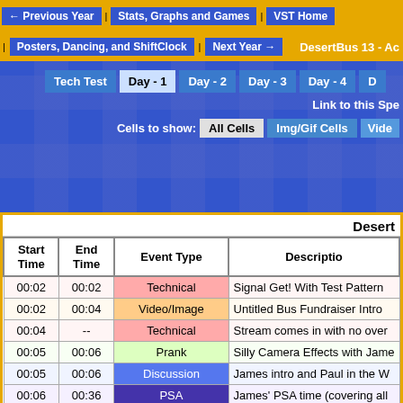← Previous Year | Stats, Graphs and Games | VST Home
Posters, Dancing, and ShiftClock | Next Year →
DesertBus 13 - Ac
Tech Test | Day - 1 | Day - 2 | Day - 3 | Day - 4 | D
Link to this Spe
Cells to show: All Cells | Img/Gif Cells | Vide
| Start Time | End Time | Event Type | Description |
| --- | --- | --- | --- |
| 00:02 | 00:02 | Technical | Signal Get! With Test Pattern |
| 00:02 | 00:04 | Video/Image | Untitled Bus Fundraiser Intro |
| 00:04 | -- | Technical | Stream comes in with no over |
| 00:05 | 00:06 | Prank | Silly Camera Effects with Jam |
| 00:05 | 00:06 | Discussion | James intro and Paul in the W |
| 00:06 | 00:36 | PSA | James' PSA time (covering all |
| 00:06 | 00:08 | PSA | What Is Desert Bus For Hope? |
| 00:08 | 00:11 | Game Event | ^ The Desert Bus game intro |